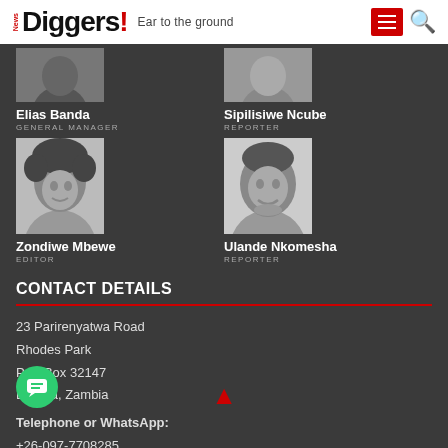News Diggers! Ear to the ground
[Figure (photo): Partial headshot of Elias Banda (cropped top)]
Elias Banda
GENERAL MANAGER
[Figure (photo): Partial headshot of Sipilisiwe Ncube (cropped top)]
Sipilisiwe Ncube
REPORTER
[Figure (photo): Headshot photo of Zondiwe Mbewe, woman with curly hair, smiling]
Zondiwe Mbewe
EDITOR
[Figure (photo): Headshot photo of Ulande Nkomesha, man smiling]
Ulande Nkomesha
REPORTER
CONTACT DETAILS
23 Parirenyatwa Road
Rhodes Park
P.O. Box 32147
Lusaka, Zambia
Telephone or WhatsApp:
+26-097-7708285
+26-095-3424603
+26-096-5915372